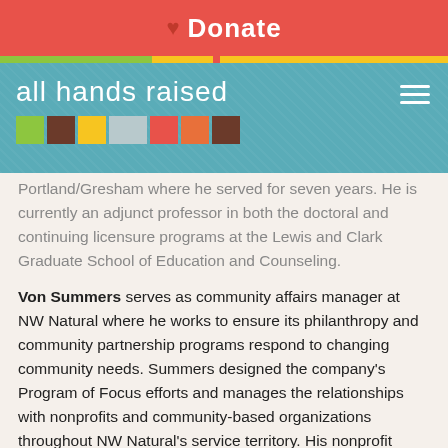[Figure (screenshot): Red donate bar with heart icon and 'Donate' text in white bold]
[Figure (logo): All hands raised logo with teal background, colored squares, and hamburger menu]
Portland/Gresham where he served for seven years. He is currently an adjunct professor in both the doctoral and continuing licensure programs at the Lewis and Clark Graduate School of Education and Counseling.
Von Summers serves as community affairs manager at NW Natural where he works to ensure its philanthropy and community partnership programs respond to changing community needs. Summers designed the company's Program of Focus efforts and manages the relationships with nonprofits and community-based organizations throughout NW Natural's service territory. His nonprofit Board service has included the Children's Relief Nursery, SMART, Grantmakers of Oregon & SW Washington, Catalyst – The Campaign for Vernonia Schools, and Portland State University's Graduate School of